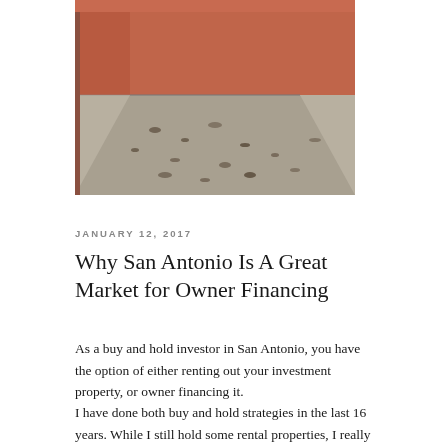[Figure (photo): Interior photo of a room with a dirty or worn tile floor, reddish-brown walls, showing a distressed property condition.]
JANUARY 12, 2017
Why San Antonio Is A Great Market for Owner Financing
As a buy and hold investor in San Antonio, you have the option of either renting out your investment property, or owner financing it.
I have done both buy and hold strategies in the last 16 years. While I still hold some rental properties, I really like to owner finance properties in San Antonio. I think that